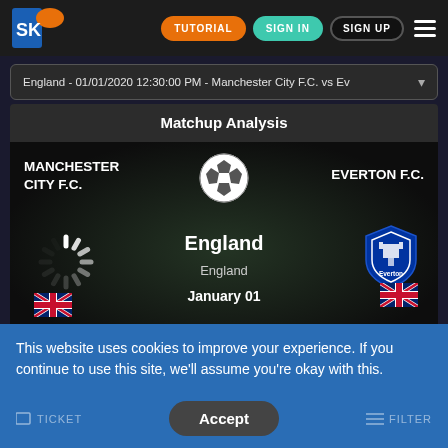[Figure (screenshot): SK logo — orange and blue stylized SK letters with orange flame-like icon]
TUTORIAL
SIGN IN
SIGN UP
England - 01/01/2020 12:30:00 PM - Manchester City F.C. vs Ev
Matchup Analysis
MANCHESTER CITY F.C.
EVERTON F.C.
England
England
January 01
To Win +033
This website uses cookies to improve your experience. If you continue to use this site, we'll assume you're okay with this.
TICKET
Accept
FILTER